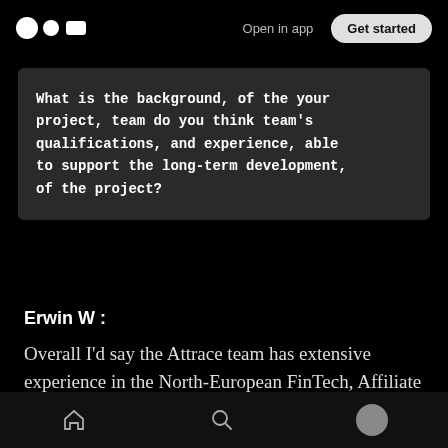Open in app  Get started
What is the background, of the your project, team do you think team's qualifications, and experience, able to support the long-term development, of the project?
Erwin W :
Overall I'd say the Attrace team has extensive experience in the North-European FinTech, Affiliate Marketing and startup field, and a — very — solid background in international blue-
Home  Search  Profile